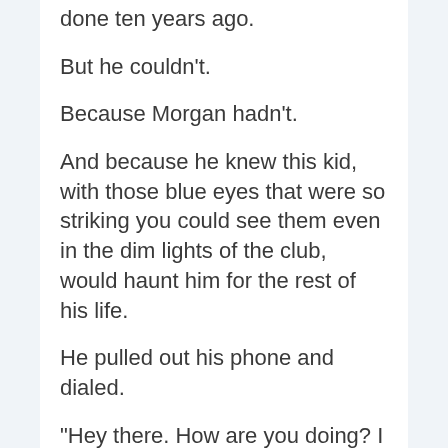done ten years ago.
But he couldn't.
Because Morgan hadn't.
And because he knew this kid, with those blue eyes that were so striking you could see them even in the dim lights of the club, would haunt him for the rest of his life.
He pulled out his phone and dialed.
“Hey there.  How are you doing?  I heard the Op you did was a little intense,” Morgan said when he answered the call.